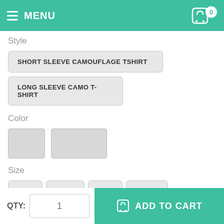MENU  0
Style
SHORT SLEEVE CAMOUFLAGE TSHIRT
LONG SLEEVE CAMO T-SHIRT
Color
[Figure (other): Two grey color swatch boxes for color selection]
Size
SMALL
MEDIUM
LARGE
X-LARGE
XX-LARGE
XXX-LARGE
4XL
QTY: 1
ADD TO CART